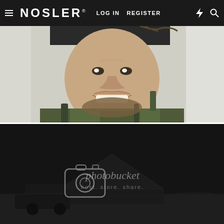≡ NOSLER® LOG IN  REGISTER  ⚡  🔍
[Figure (photo): Close-up photo of a smiling man wearing camouflage hunting gear and a dark hat, with hunting equipment visible in the background. Partially cropped at top.]
[Figure (photo): Dark nighttime photo showing a tent or tarp structure in a snowy outdoor setting, with a Photobucket watermark overlay showing camera icon and text 'photobucket host. store. share.']